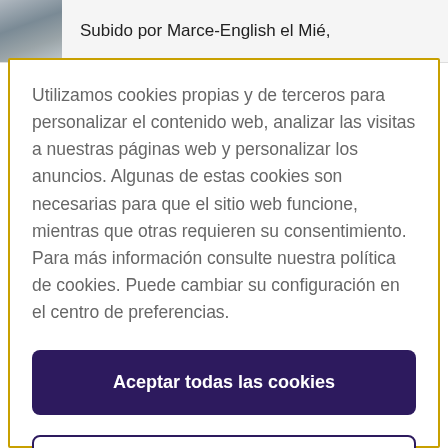Subido por Marce-English el Mié,
Utilizamos cookies propias y de terceros para personalizar el contenido web, analizar las visitas a nuestras páginas web y personalizar los anuncios. Algunas de estas cookies son necesarias para que el sitio web funcione, mientras que otras requieren su consentimiento. Para más información consulte nuestra política de cookies. Puede cambiar su configuración en el centro de preferencias.
Aceptar todas las cookies
Configuración de cookies